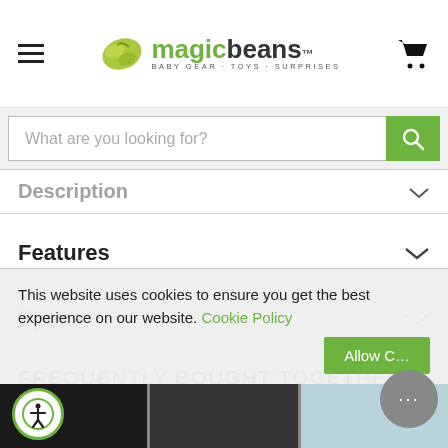magic beans – BABY GEAR · TOYS · SURPRISES
What are you looking for?
Description
Features
Specs
FREQUENTLY BOUGHT TOGETHER
This website uses cookies to ensure you get the best experience on our website. Cookie Policy
Allow C...